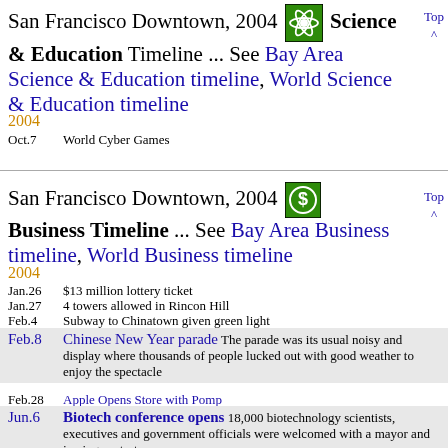San Francisco Downtown, 2004 [Science icon] Science & Education Timeline ... See Bay Area Science & Education timeline, World Science & Education timeline
Top ^
2004
Oct.7   World Cyber Games
San Francisco Downtown, 2004 [Business icon] Business Timeline ... See Bay Area Business timeline, World Business timeline
Top ^
2004
Jan.26   $13 million lottery ticket
Jan.27   4 towers allowed in Rincon Hill
Feb.4    Subway to Chinatown given green light
Feb.8    Chinese New Year parade  The parade was its usual noisy and display where thousands of people lucked out with good weather to enjoy the spectacle
Feb.28   Apple Opens Store with Pomp
Jun.6    Biotech conference opens  18,000 biotechnology scientists, executives and government officials were welcomed with a mayor and jeering protesters